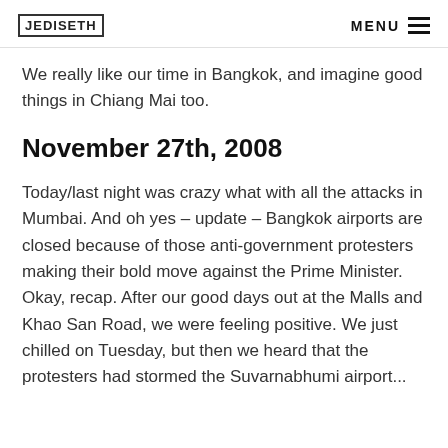JEDISETH  MENU
We really like our time in Bangkok, and imagine good things in Chiang Mai too.
November 27th, 2008
Today/last night was crazy what with all the attacks in Mumbai. And oh yes – update – Bangkok airports are closed because of those anti-government protesters making their bold move against the Prime Minister. Okay, recap. After our good days out at the Malls and Khao San Road, we were feeling positive. We just chilled on Tuesday, but then we heard that the protesters had stormed the Suvarnabhumi airport and they cancelled all flights. It...